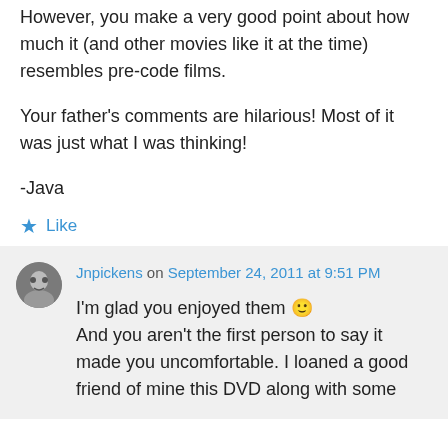However, you make a very good point about how much it (and other movies like it at the time) resembles pre-code films.
Your father's comments are hilarious! Most of it was just what I was thinking!
-Java
★ Like
Jnpickens on September 24, 2011 at 9:51 PM
I'm glad you enjoyed them 🙂
And you aren't the first person to say it made you uncomfortable. I loaned a good friend of mine this DVD along with some